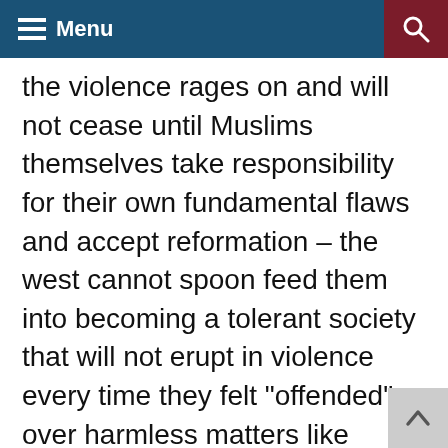Menu
the violence rages on and will not cease until Muslims themselves take responsibility for their own fundamental flaws and accept reformation – the west cannot spoon feed them into becoming a tolerant society that will not erupt in violence every time they felt “offended” over harmless matters like satire, legitimate criticism of ideology, and the raising of